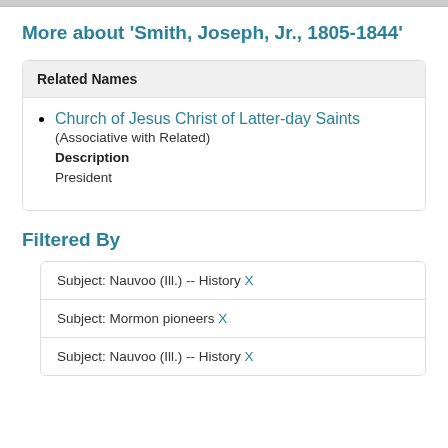More about 'Smith, Joseph, Jr., 1805-1844'
Related Names
Church of Jesus Christ of Latter-day Saints (Associative with Related) Description President
Filtered By
| Subject: Nauvoo (Ill.) -- History X |
| Subject: Mormon pioneers X |
| Subject: Nauvoo (Ill.) -- History X |